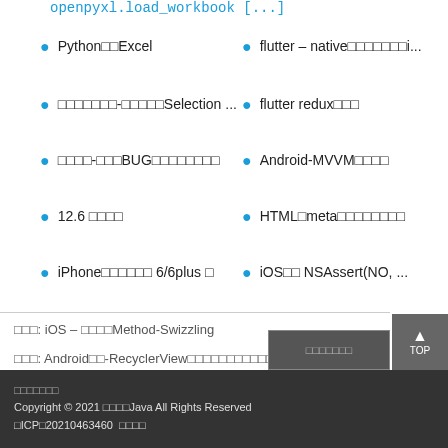openpyxl.load_workbook [...]
Python□□Excel
flutter – native□□□□□□□i...
□□□□□□□-□□□□□Selection ...
flutter redux□□□
□□□□-□□□BUG□□□□□□□□
Android-MVVM□□□□
12.6 □□□□
HTML□meta□□□□□□□□
iPhone□□□□□□ 6/6plus □
iOS□□ NSAssert(NO, ...
□□□: iOS – □□□□Method-Swizzling
□□□: Android□□-RecyclerView□□□□□□□□□□□□□
□□□□□□□
Copyright © 2021 □□□□Java All Rights Reserved
□ICP□20210463460  □□□□